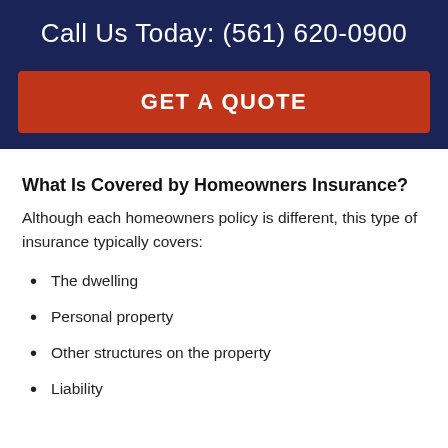Call Us Today: (561) 620-0900
GET A QUOTE
What Is Covered by Homeowners Insurance?
Although each homeowners policy is different, this type of insurance typically covers:
The dwelling
Personal property
Other structures on the property
Liability